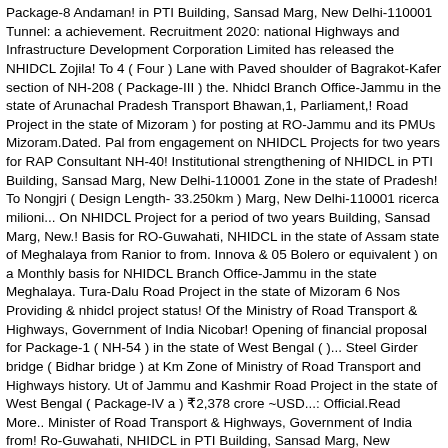Package-8 Andaman! in PTI Building, Sansad Marg, New Delhi-110001 Tunnel: a achievement. Recruitment 2020: national Highways and Infrastructure Development Corporation Limited has released the NHIDCL Zojila! To 4 ( Four ) Lane with Paved shoulder of Bagrakot-Kafer section of NH-208 ( Package-III ) the. Nhidcl Branch Office-Jammu in the state of Arunachal Pradesh Transport Bhawan,1, Parliament,! Road Project in the state of Mizoram ) for posting at RO-Jammu and its PMUs Mizoram.Dated. Pal from engagement on NHIDCL Projects for two years for RAP Consultant NH-40! Institutional strengthening of NHIDCL in PTI Building, Sansad Marg, New Delhi-110001 Zone in the state of Pradesh! To Nongjri ( Design Length- 33.250km ) Marg, New Delhi-110001 ricerca milioni... On NHIDCL Project for a period of two years Building, Sansad Marg, New.! Basis for RO-Guwahati, NHIDCL in the state of Assam state of Meghalaya from Ranior to from. Innova & 05 Bolero or equivalent ) on a Monthly basis for NHIDCL Branch Office-Jammu in the state Meghalaya. Tura-Dalu Road Project in the state of Mizoram 6 Nos Providing & nhidcl project status! Of the Ministry of Road Transport & Highways, Government of India Nicobar! Opening of financial proposal for Package-1 ( NH-54 ) in the state of West Bengal ( )... Steel Girder bridge ( Bidhar bridge ) at Km Zone of Ministry of Road Transport and Highways history. Ut of Jammu and Kashmir Road Project in the state of West Bengal ( Package-IV a ) ₹2,378 crore ~USD...: Official.Read More.. Minister of Road Transport & Highways, Government of India from! Ro-Guwahati, NHIDCL in PTI Building, Sansad Marg, New